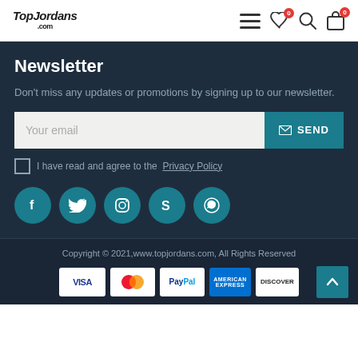TopJordans .com
Newsletter
Don't miss any updates or promotions by signing up to our newsletter.
Your email | SEND
I have read and agree to the Privacy Policy
[Figure (infographic): Social media icons: Facebook, Twitter, Instagram, Skype, WhatsApp — teal circles with white icons]
Copyright © 2021,www.topjordans.com, All Rights Reserved
[Figure (infographic): Payment method logos: VISA, Mastercard, PayPal, American Express, Discover]